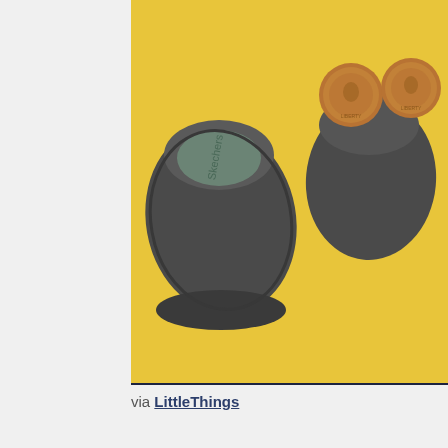[Figure (photo): Close-up photo of dark gray baby/toddler shoes on a yellow background, with two copper pennies placed nearby for size comparison. The shoes appear to be very small, with visible insoles.]
via LittleThings
11. FAIRY JAR